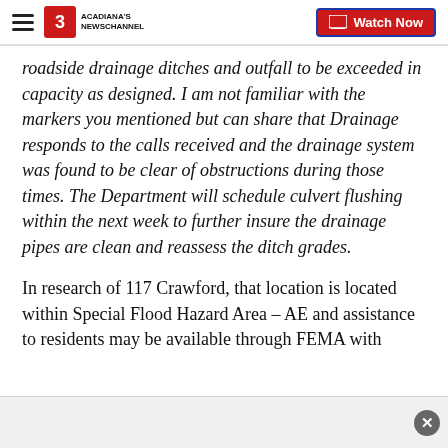Acadiana's Newschannel — Watch Now
roadside drainage ditches and outfall to be exceeded in capacity as designed. I am not familiar with the markers you mentioned but can share that Drainage responds to the calls received and the drainage system was found to be clear of obstructions during those times. The Department will schedule culvert flushing within the next week to further insure the drainage pipes are clean and reassess the ditch grades.
In research of 117 Crawford, that location is located within Special Flood Hazard Area – AE and assistance to residents may be available through FEMA with